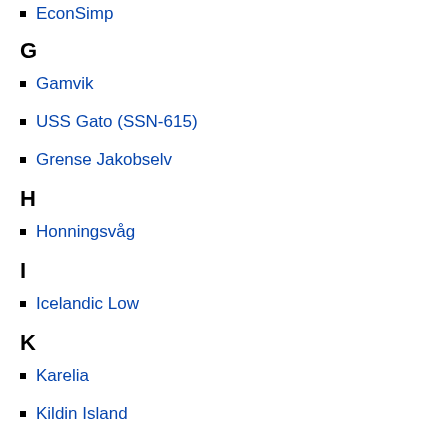EconSimp
G
Gamvik
USS Gato (SSN-615)
Grense Jakobselv
H
Honningsvåg
I
Icelandic Low
K
Karelia
Kildin Island